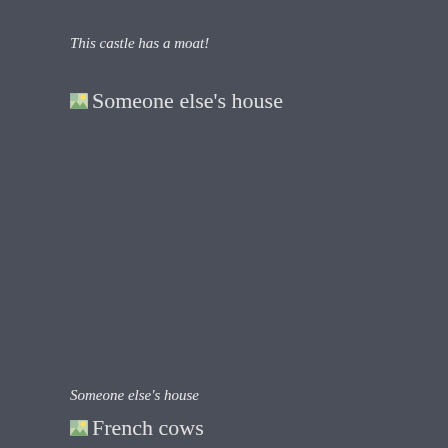This castle has a moat!
[Figure (photo): Broken image placeholder labeled 'Someone else's house']
Someone else's house
[Figure (photo): Broken image placeholder labeled 'French cows']